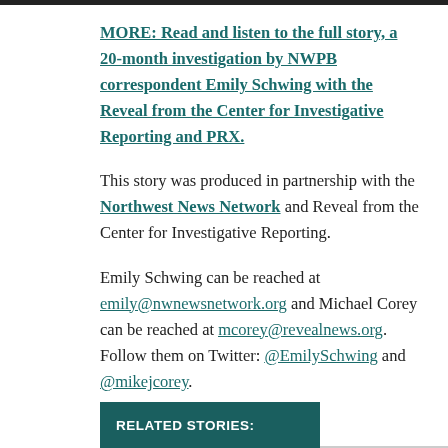MORE: Read and listen to the full story, a 20-month investigation by NWPB correspondent Emily Schwing with the Reveal from the Center for Investigative Reporting and PRX.
This story was produced in partnership with the Northwest News Network and Reveal from the Center for Investigative Reporting.
Emily Schwing can be reached at emily@nwnewsnetwork.org and Michael Corey can be reached at mcorey@revealnews.org. Follow them on Twitter: @EmilySchwing and @mikejcorey.
RELATED STORIES: